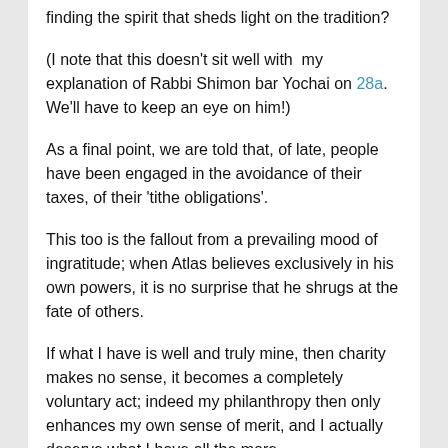finding the spirit that sheds light on the tradition?
(I note that this doesn't sit well with  my explanation of Rabbi Shimon bar Yochai on 28a.  We'll have to keep an eye on him!)
As a final point, we are told that, of late, people have been engaged in the avoidance of their taxes, of their 'tithe obligations'.
This too is the fallout from a prevailing mood of ingratitude; when Atlas believes exclusively in his own powers, it is no surprise that he shrugs at the fate of others.
If what I have is well and truly mine, then charity makes no sense, it becomes a completely voluntary act; indeed my philanthropy then only enhances my own sense of merit, and I actually deserve what I have all the more.
If I am fortunate and blessed, then it makes sense for me